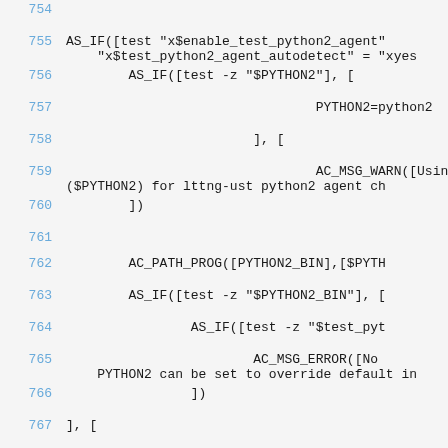Code listing lines 754-767, autoconf/m4 script showing AS_IF and AC_PATH_PROG macros for Python2 agent configuration
754
755  AS_IF([test "x$enable_test_python2_agent" "x$test_python2_agent_autodetect" = "xyes
756          AS_IF([test -z "$PYTHON2"], [
757                                  PYTHON2=python2
758                          ], [
759                                  AC_MSG_WARN([Using ($PYTHON2) for lttng-ust python2 agent ch
760                  ])
761
762          AC_PATH_PROG([PYTHON2_BIN],[$PYTH
763          AS_IF([test -z "$PYTHON2_BIN"], [
764                  AS_IF([test -z "$test_pyt
765                          AC_MSG_ERROR([No PYTHON2 can be set to override default in
766                  ])
767  ], [